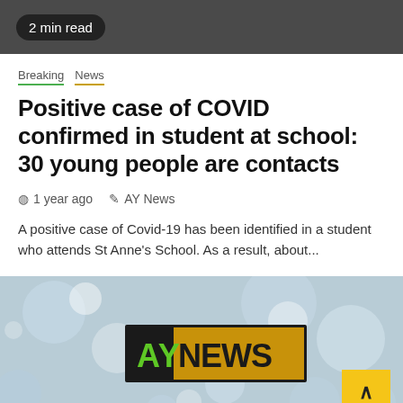2 min read
Breaking  News
Positive case of COVID confirmed in student at school: 30 young people are contacts
1 year ago   AY News
A positive case of Covid-19 has been identified in a student who attends St Anne's School. As a result, about...
[Figure (logo): AY News logo — green 'AY' text and gold/dark 'NEWS' text on black background, on a blurred bokeh background]